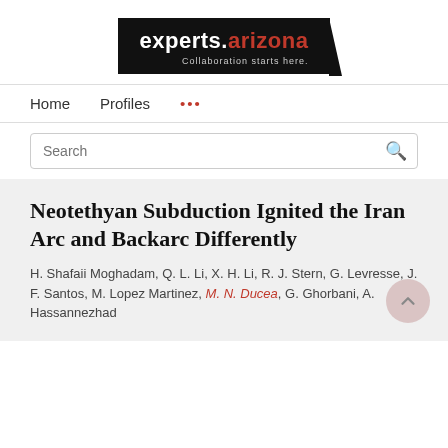[Figure (logo): experts.arizona logo — black background with white 'experts.' text and red 'arizona' text, tagline 'Collaboration starts here.']
Home   Profiles   ...
Search
Neotethyan Subduction Ignited the Iran Arc and Backarc Differently
H. Shafaii Moghadam, Q. L. Li, X. H. Li, R. J. Stern, G. Levresse, J. F. Santos, M. Lopez Martinez, M. N. Ducea, G. Ghorbani, A. Hassannezhad